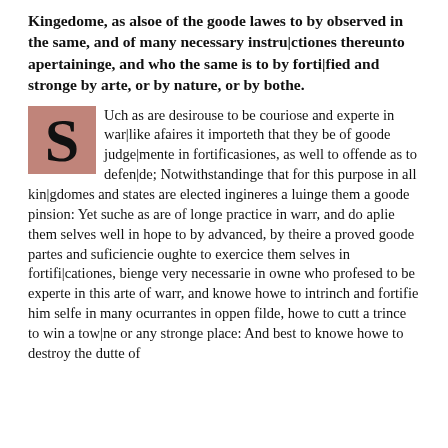Kingedome, as alsoe of the goode lawes to by observed in the same, and of many necessary instru|ctiones thereunto apertaininge, and who the same is to by forti|fied and stronge by arte, or by nature, or by bothe.
Such as are desirouse to be couriose and experte in war|like afaires it importeth that they be of goode judge|mente in fortificasiones, as well to offende as to defen|de; Notwithstandinge that for this purpose in all kin|gdomes and states are elected ingineres a luinge them a goode pinsion: Yet suche as are of longe practice in warr, and do aplie them selves well in hope to by advanced, by theire a proved goode partes and suficiencie oughte to exercice them selves in fortifi|cationes, bienge very necessarie in owne who profesed to be experte in this arte of warr, and knowe howe to intrinch and fortifie him selfe in many ocurrantes in oppen filde, howe to cutt a trince to win a tow|ne or any stronge place: And best to knowe howe to destroy the dutte of